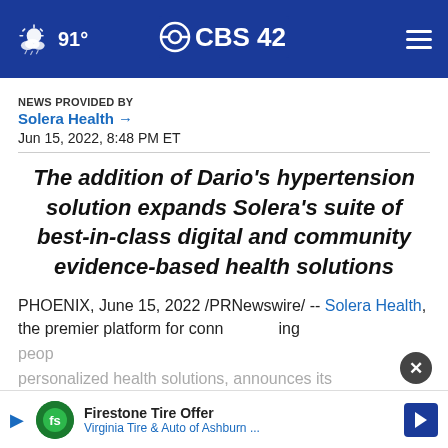91° CBS42
NEWS PROVIDED BY
Solera Health →
Jun 15, 2022, 8:48 PM ET
The addition of Dario's hypertension solution expands Solera's suite of best-in-class digital and community evidence-based health solutions
PHOENIX, June 15, 2022 /PRNewswire/ -- Solera Health, the premier platform for connecting people personalized health solutions, announces its